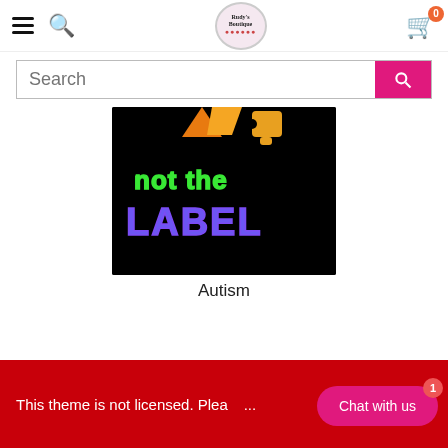Rudy's Boutique – navigation bar with hamburger menu, search icon, logo, and cart (0 items)
Search
[Figure (photo): Dark background image with rainbow-colored text reading 'not the LABEL' and autism puzzle piece graphic]
Autism
This theme is not licensed. Please purchase
Chat with us